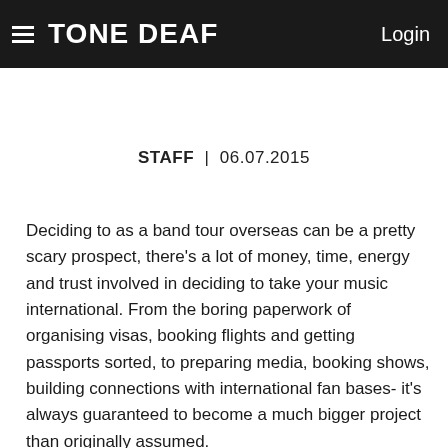TONE DEAF  Login
STAFF  |  06.07.2015
Deciding to as a band tour overseas can be a pretty scary prospect, there's a lot of money, time, energy and trust involved in deciding to take your music international. From the boring paperwork of organising visas, booking flights and getting passports sorted, to preparing media, booking shows, building connections with international fan bases- it's always guaranteed to become a much bigger project than originally assumed.
On the other side of the coin however, touring overseas